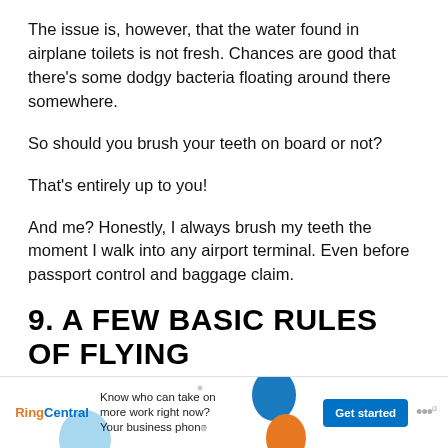The issue is, however, that the water found in airplane toilets is not fresh. Chances are good that there's some dodgy bacteria floating around there somewhere.
So should you brush your teeth on board or not?
That's entirely up to you!
And me? Honestly, I always brush my teeth the moment I walk into any airport terminal. Even before passport control and baggage claim.
9. A FEW BASIC RULES OF FLYING
OK, these aren't exactly written down rules. But try follow these as much as possible. For your own sake an[d…]
[Figure (infographic): RingCentral advertisement banner: 'Know who can take on more work right now? Your business phone' with Get started button and decorative colored blobs]